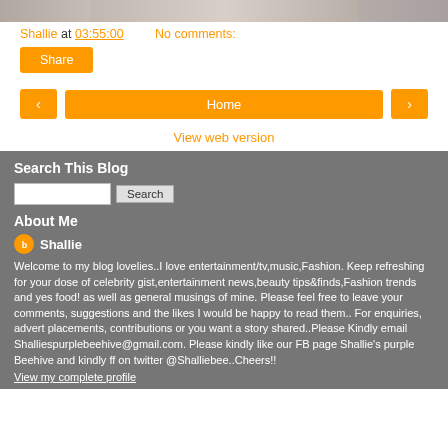[Figure (photo): Top partial image strip showing what appears to be electronics or accessories]
Shallie at 03:55:00    No comments:
Share
< Home >
View web version
Search This Blog
About Me
Shallie
Welcome to my blog lovelies..I love entertainment/tv,music,Fashion. Keep refreshing for your dose of celebrity gist,entertainment news,beauty tips&finds,Fashion trends and yes food! as well as general musings of mine. Please feel free to leave your comments, suggestions and the likes I would be happy to read them.. For enquiries, advert placements, contributions or you want a story shared..Please Kindly email Shalliespurplebeehive@gmail.com. Please kindly like our FB page Shallie's purple Beehive and kindly ff on twitter @Shalliebee..Cheers!!